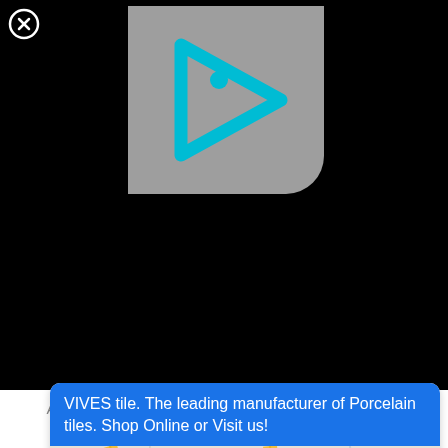[Figure (logo): Gray rounded rectangle with cyan/teal triangular arrow logo with 'i' inside — VIVES tile brand logo on dark background with close (X) button]
VIVES tile. The leading manufacturer of Porcelain tiles. Shop Online or Visit us!
[Figure (map): Google Maps style map snippet showing road intersections with a red location pin marker in the center. Yellow roads visible. Green area to the left.]
Directions
Call
And such an obvious one, like think Britta commercial obvious: